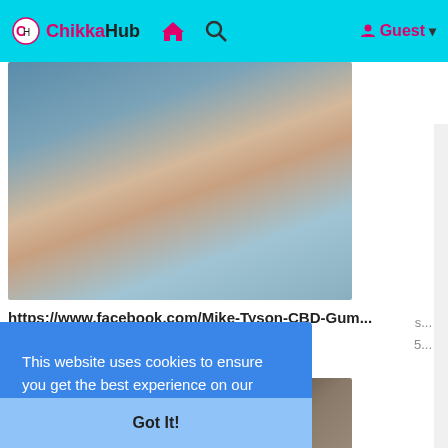ChikkaHub navigation bar with logo, home, search icons and Guest login
[Figure (photo): Photo of a woman holding her head in her hands, sitting on a bed, appearing stressed or in pain. Bedroom background with bookshelf and lamp.]
https://www.facebook.com/Mike-Tyson-CBD-Gum...
28 Mar 2022
[Figure (photo): Partially visible dark-toned article thumbnail image, second article preview.]
This website uses cookies to ensure you get the best experience on our website.
Learn More
Got It!